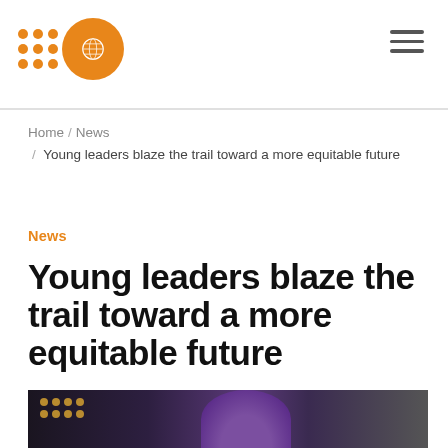UNFPA
Home / News / Young leaders blaze the trail toward a more equitable future
News
Young leaders blaze the trail toward a more equitable future
[Figure (photo): Photo of a person wearing a purple braided head wrap, with bokeh lights in background]